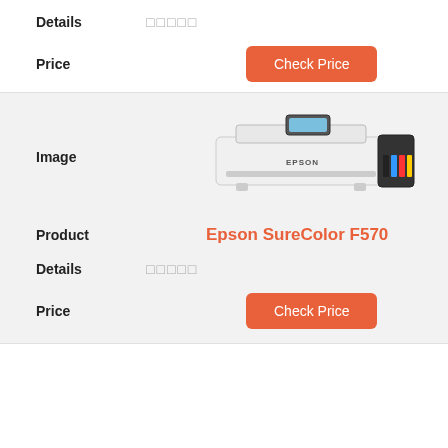Details  □□□□□
Price  Check Price
[Figure (photo): Epson SureColor F570 wide-format printer, white body with colorful ink tanks on right side]
Image
Product  Epson SureColor F570
Details  □□□□□
Price  Check Price